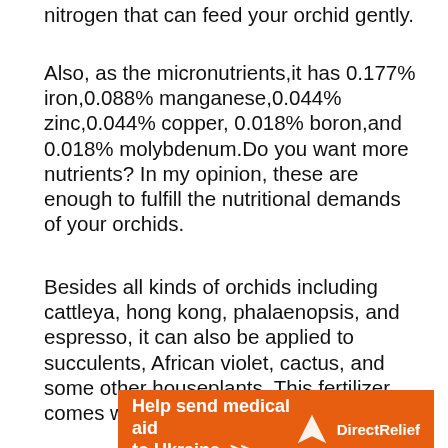nitrogen that can feed your orchid gently.
Also, as the micronutrients,it has 0.177% iron,0.088% manganese,0.044% zinc,0.044% copper, 0.018% boron,and 0.018% molybdenum.Do you want more nutrients? In my opinion, these are enough to fulfill the nutritional demands of your orchids.
Besides all kinds of orchids including cattleya, hong kong, phalaenopsis, and espresso, it can also be applied to succulents, African violet, cactus, and some other houseplants. This fertilizer comes with water-soluble granules.
[Figure (other): Orange advertisement banner for Direct Relief: 'Help send medical aid to Ukraine >>' with Direct Relief logo]